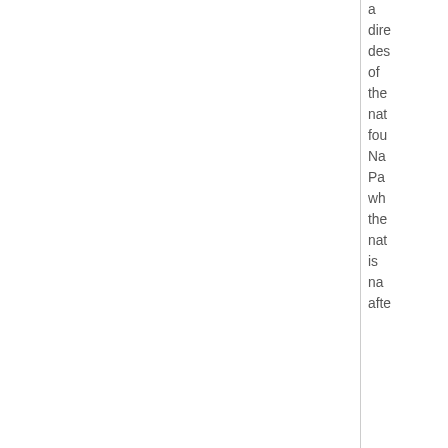a direct descendant of the national founder Na Pa who the nation is named after
Last edited by Naxi Parten on Mon Dec 13, 2021 6:22 pm,